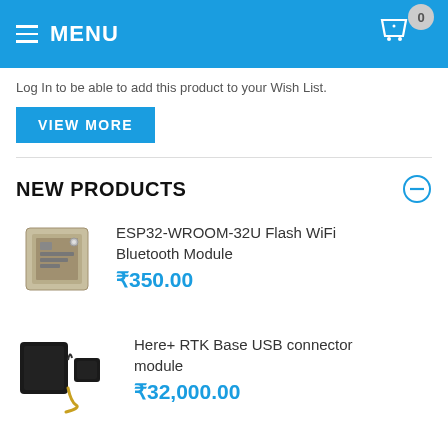MENU
Log In to be able to add this product to your Wish List.
VIEW MORE
NEW PRODUCTS
[Figure (photo): ESP32-WROOM-32U WiFi Bluetooth Module PCB board]
ESP32-WROOM-32U Flash WiFi Bluetooth Module
₹350.00
[Figure (photo): Here+ RTK Base USB connector module - black device with cable]
Here+ RTK Base USB connector module
₹32,000.00